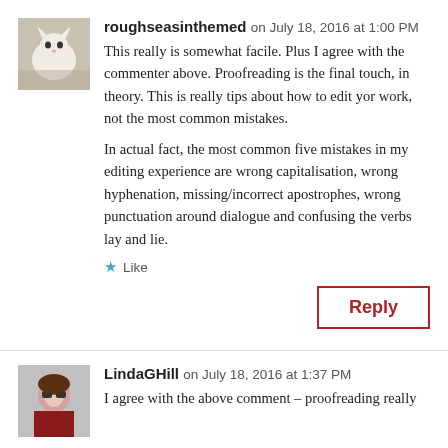roughseasinthemed on July 18, 2016 at 1:00 PM
This really is somewhat facile. Plus I agree with the commenter above. Proofreading is the final touch, in theory. This is really tips about how to edit yor work, not the most common mistakes.
In actual fact, the most common five mistakes in my editing experience are wrong capitalisation, wrong hyphenation, missing/incorrect apostrophes, wrong punctuation around dialogue and confusing the verbs lay and lie.
Like
Reply
LindaGHill on July 18, 2016 at 1:37 PM
I agree with the above comment – proofreading really